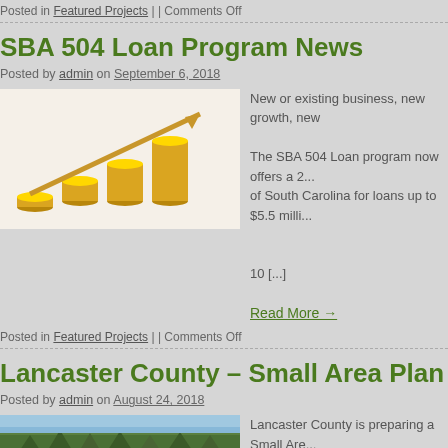Posted in Featured Projects | | Comments Off
SBA 504 Loan Program News
Posted by admin on September 6, 2018
[Figure (photo): Gold coins stacked in increasing height with an upward trending arrow, representing financial growth]
New or existing business, new growth, new...
The SBA 504 Loan program now offers a 2... of South Carolina for loans up to $5.5 milli...
10 [...]
Read More →
Posted in Featured Projects | | Comments Off
Lancaster County – Small Area Plan
Posted by admin on August 24, 2018
[Figure (photo): Aerial landscape view of Lancaster County showing forested hills and terrain]